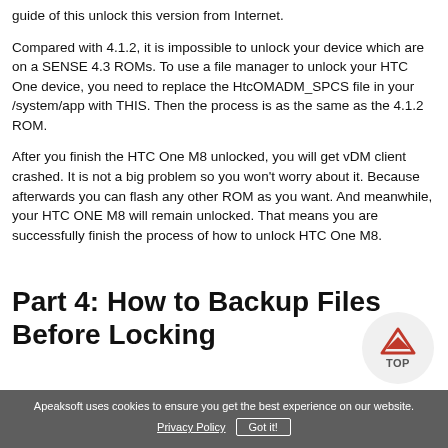guide of this unlock this version from Internet.
Compared with 4.1.2, it is impossible to unlock your device which are on a SENSE 4.3 ROMs. To use a file manager to unlock your HTC One device, you need to replace the HtcOMADM_SPCS file in your /system/app with THIS. Then the process is as the same as the 4.1.2 ROM.
After you finish the HTC One M8 unlocked, you will get vDM client crashed. It is not a big problem so you won't worry about it. Because afterwards you can flash any other ROM as you want. And meanwhile, your HTC ONE M8 will remain unlocked. That means you are successfully finish the process of how to unlock HTC One M8.
[Figure (other): TOP button with orange arrow chevron icon on circular grey background]
Part 4: How to Backup Files Before Locking
Apeaksoft uses cookies to ensure you get the best experience on our website. Privacy Policy  Got it!